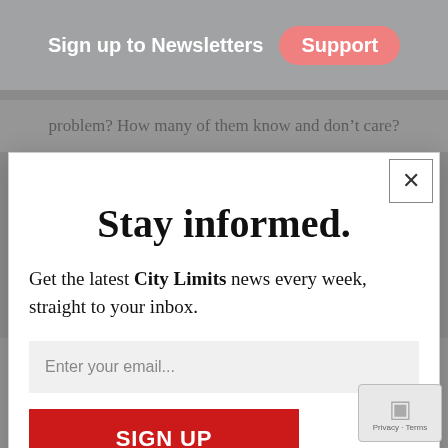Sign up to Newsletters  Support
problem? How many of them know and don’t care?
Stay informed.
Get the latest City Limits news every week, straight to your inbox.
Enter your email...
SIGN UP
We do not sell or share your information with anyone.
all New Yorkers. If we produce less trash, we’ll less MTSs, less trucks, less tugs and barges, et